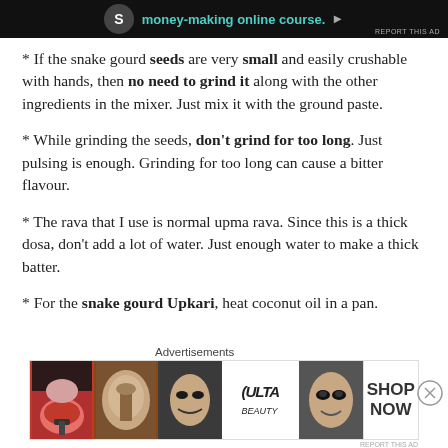[Figure (screenshot): Top advertisement banner showing dark background with teal text 'money-making online course.' and a circular icon]
* If the snake gourd seeds are very small and easily crushable with hands, then no need to grind it along with the other ingredients in the mixer. Just mix it with the ground paste.
* While grinding the seeds, don't grind for too long. Just pulsing is enough. Grinding for too long can cause a bitter flavour.
* The rava that I use is normal upma rava. Since this is a thick dosa, don't add a lot of water. Just enough water to make a thick batter.
* For the snake gourd Upkari, heat coconut oil in a pan.
[Figure (photo): Bottom advertisement banner for ULTA beauty showing makeup product photos with SHOP NOW call to action]